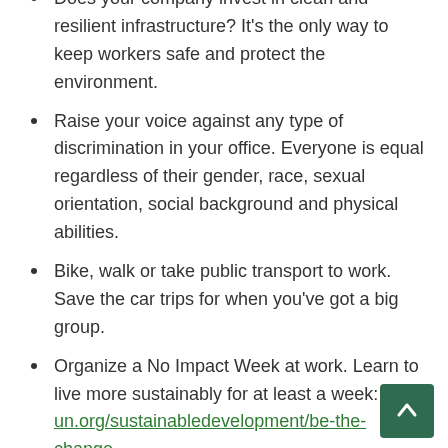Does your company invest in clean and resilient infrastructure? It's the only way to keep workers safe and protect the environment.
Raise your voice against any type of discrimination in your office. Everyone is equal regardless of their gender, race, sexual orientation, social background and physical abilities.
Bike, walk or take public transport to work. Save the car trips for when you've got a big group.
Organize a No Impact Week at work. Learn to live more sustainably for at least a week: un.org/sustainabledevelopment/be-the-change.
Speak up! Ask your company and Government to engage in initiatives that will not harm people the planet. Voice your support for Paris